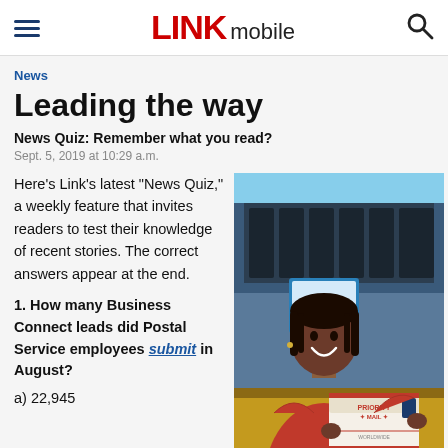LINK mobile
News
Leading the way
News Quiz: Remember what you read?
Sept. 5, 2019 at 10:29 a.m.
Here’s Link’s latest “News Quiz,” a weekly feature that invites readers to test their knowledge of recent stories. The correct answers appear at the end.
[Figure (photo): A smiling postal worker in a red shirt holding a Priority Mail box at a retail counter]
1. How many Business Connect leads did Postal Service employees submit in August?
a) 22,945